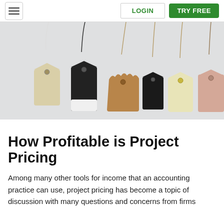LOGIN  TRY FREE
[Figure (photo): Six price tags of varying colors and sizes (cream, black, tan/kraft, black small, pale yellow, pink/peach) hanging against a light gray background]
How Profitable is Project Pricing
Among many other tools for income that an accounting practice can use, project pricing has become a topic of discussion with many questions and concerns from firms